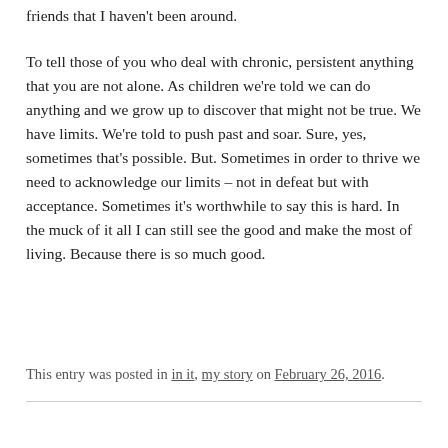friends that I haven't been around.
To tell those of you who deal with chronic, persistent anything that you are not alone. As children we're told we can do anything and we grow up to discover that might not be true. We have limits. We're told to push past and soar. Sure, yes, sometimes that's possible. But. Sometimes in order to thrive we need to acknowledge our limits – not in defeat but with acceptance. Sometimes it's worthwhile to say this is hard. In the muck of it all I can still see the good and make the most of living. Because there is so much good.
This entry was posted in in it, my story on February 26, 2016.